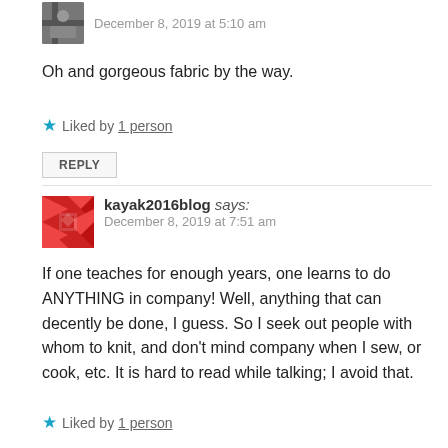December 8, 2019 at 5:10 am
Oh and gorgeous fabric by the way.
Liked by 1 person
REPLY
kayak2016blog says: December 8, 2019 at 7:51 am
If one teaches for enough years, one learns to do ANYTHING in company! Well, anything that can decently be done, I guess. So I seek out people with whom to knit, and don't mind company when I sew, or cook, etc. It is hard to read while talking; I avoid that.
Liked by 1 person